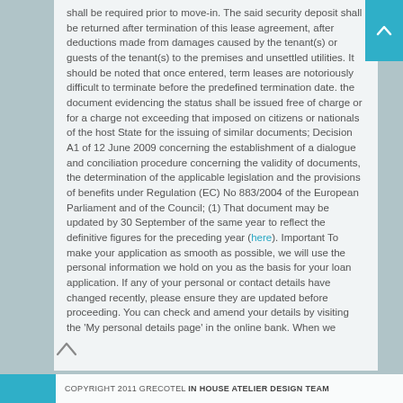shall be required prior to move-in. The said security deposit shall be returned after termination of this lease agreement, after deductions made from damages caused by the tenant(s) or guests of the tenant(s) to the premises and unsettled utilities. It should be noted that once entered, term leases are notoriously difficult to terminate before the predefined termination date. the document evidencing the status shall be issued free of charge or for a charge not exceeding that imposed on citizens or nationals of the host State for the issuing of similar documents; Decision A1 of 12 June 2009 concerning the establishment of a dialogue and conciliation procedure concerning the validity of documents, the determination of the applicable legislation and the provisions of benefits under Regulation (EC) No 883/2004 of the European Parliament and of the Council; (1) That document may be updated by 30 September of the same year to reflect the definitive figures for the preceding year (here). Important To make your application as smooth as possible, we will use the personal information we hold on you as the basis for your loan application. If any of your personal or contact details have changed recently, please ensure they are updated before proceeding. You can check and amend your details by visiting the 'My personal details page' in the online bank. When we
COPYRIGHT 2011 GRECOTEL IN HOUSE ATELIER DESIGN TEAM